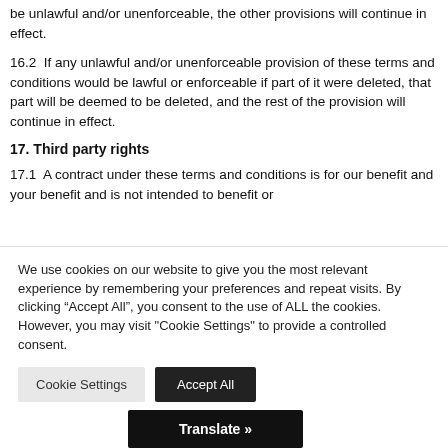be unlawful and/or unenforceable, the other provisions will continue in effect.
16.2  If any unlawful and/or unenforceable provision of these terms and conditions would be lawful or enforceable if part of it were deleted, that part will be deemed to be deleted, and the rest of the provision will continue in effect.
17. Third party rights
17.1  A contract under these terms and conditions is for our benefit and your benefit and is not intended to benefit or
We use cookies on our website to give you the most relevant experience by remembering your preferences and repeat visits. By clicking “Accept All”, you consent to the use of ALL the cookies. However, you may visit "Cookie Settings" to provide a controlled consent.
Cookie Settings | Accept All
Translate »